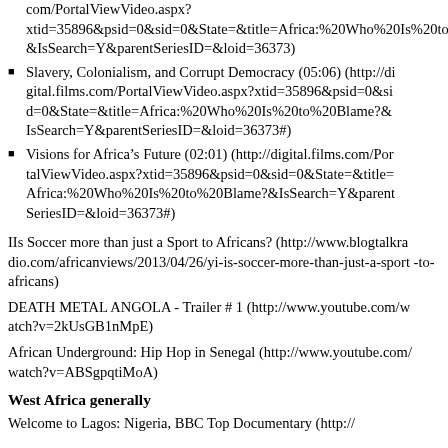com/PortalViewVideo.aspx?xtid=35896&psid=0&sid=0&State=&title=Africa:%20Who%20Is%20to%20Blame?&IsSearch=Y&parentSeriesID=&loid=36373)
Slavery, Colonialism, and Corrupt Democracy (05:06) (http://digital.films.com/PortalViewVideo.aspx?xtid=35896&psid=0&sid=0&State=&title=Africa:%20Who%20Is%20to%20Blame?&IsSearch=Y&parentSeriesID=&loid=36373#)
Visions for Africa's Future (02:01) (http://digital.films.com/PortalViewVideo.aspx?xtid=35896&psid=0&sid=0&State=&title=Africa:%20Who%20Is%20to%20Blame?&IsSearch=Y&parentSeriesID=&loid=36373#)
IIs Soccer more than just a Sport to Africans? (http://www.blogtalkradio.com/africanviews/2013/04/26/yi-is-soccer-more-than-just-a-sport-to-africans)
DEATH METAL ANGOLA - Trailer # 1 (http://www.youtube.com/watch?v=2kUsGB1nMpE)
African Underground: Hip Hop in Senegal (http://www.youtube.com/watch?v=ABSgpqtiMoA)
West Africa generally
Welcome to Lagos: Nigeria, BBC Top Documentary (http://